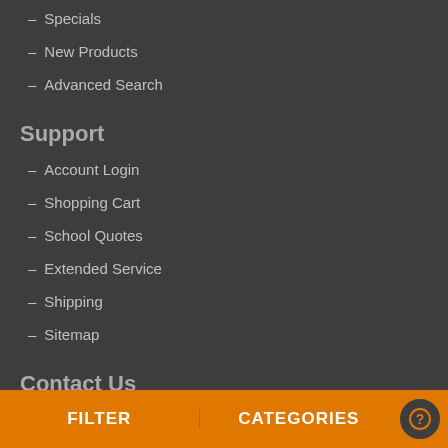– Specials
– New Products
– Advanced Search
Support
– Account Login
– Shopping Cart
– School Quotes
– Extended Service
– Shipping
– Sitemap
Contact Us
FILTER   CATEGORIES